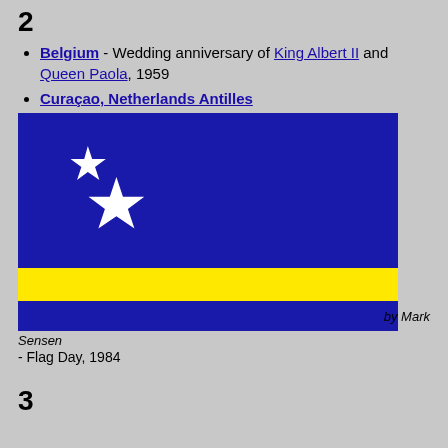2
Belgium - Wedding anniversary of King Albert II and Queen Paola, 1959
Curaçao, Netherlands Antilles
[Figure (illustration): Flag of Curaçao, Netherlands Antilles: dark blue background with two white five-pointed stars in the upper left and a horizontal yellow stripe with thin blue stripe below, credited as 'by Mark Sensen']
- Flag Day, 1984
3